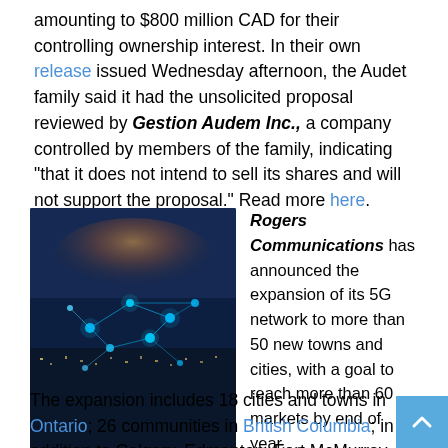amounting to $800 million CAD for their controlling ownership interest. In their own release issued Wednesday afternoon, the Audet family said it had the unsolicited proposal reviewed by Gestion Audem Inc., a company controlled by members of the family, indicating “that it does not intend to sell its shares and will not support the proposal.” Read more here.
[Figure (photo): Aerial night photo of a city with glowing blue network connection nodes and lines overlaid, representing 5G connectivity.]
Rogers Communications has announced the expansion of its 5G network to more than 50 new towns and cities, with a goal to reach more than 60 markets by end of year. The expansion includes 18 cities and towns in Ontario; 26 communities in British Columbia; in addition to Calgary, Edmonton, Fort McMurray, Grande Prairie, Lethbridge, Regina, Saskatoon, Gatineau, Quebec City and